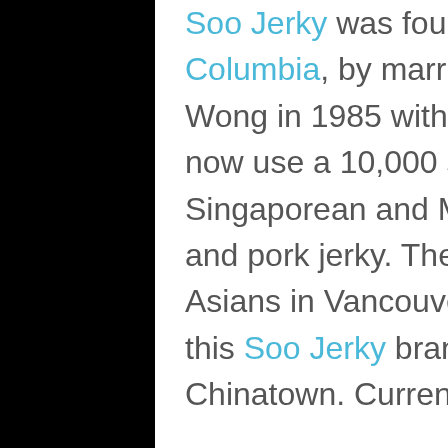Soo Jerky was founded in Vancouver, British Columbia, by married couple Phillip and Soo Wong in 1985 with a 1,400 sq. ft facility. They now use a 10,000 sq. ft facility specializing in Singaporean and Malaysian-style beef, salmon, and pork jerky. There is a heavy presence of Asians in Vancouver, British Columbia, where this Soo Jerky brand became popular in Chinatown. Currently, they
Read More
Filed Under: Beef, Mammal